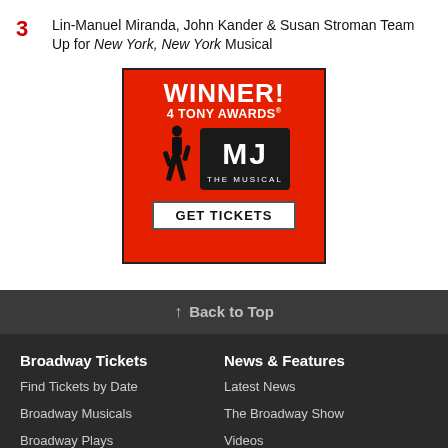3  Lin-Manuel Miranda, John Kander & Susan Stroman Team Up for New York, New York Musical
[Figure (illustration): MJ The Musical advertisement banner on red background. Text: WINNER! 4 TONY AWARDS with MJ The Musical logo and dancer silhouette. GET TICKETS button.]
↑ Back to Top
Broadway Tickets
News & Features
Find Tickets by Date
Latest News
Broadway Musicals
The Broadway Show
Broadway Plays
Videos
Stars on Stage
Photos